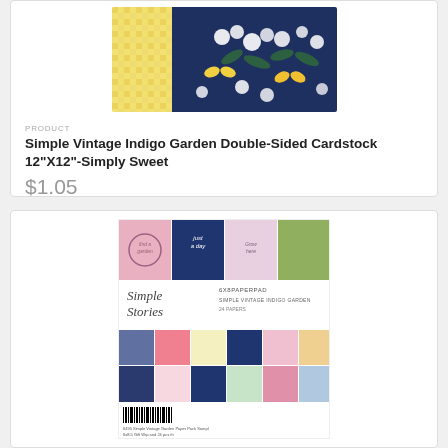[Figure (photo): Product photo of Simple Vintage Indigo Garden Double-Sided Cardstock showing a dark navy floral pattern with white flowers and yellow butterflies, alongside a yellow gingham pattern]
PRODUCT
Simple Vintage Indigo Garden Double-Sided Cardstock 12"X12"-Simply Sweet
$1.05
[Figure (photo): Product packaging for Simple Stories Simple Vintage Indigo Garden 6x8 paper pad showing assorted patterned papers with floral, gingham, and butterfly designs in navy, pink, and yellow colors]